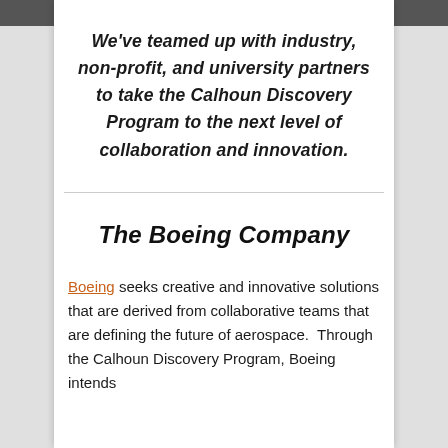We've teamed up with industry, non-profit, and university partners to take the Calhoun Discovery Program to the next level of collaboration and innovation.
The Boeing Company
Boeing seeks creative and innovative solutions that are derived from collaborative teams that are defining the future of aerospace. Through the Calhoun Discovery Program, Boeing intends